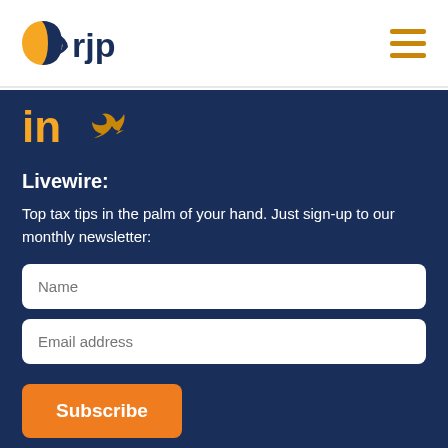[Figure (logo): RJP logo with orange and navy face silhouette and 'rjp' text in navy]
[Figure (other): Hamburger menu icon with three horizontal orange/gold lines]
[Figure (other): LinkedIn 'in' icon in orange and Twitter bird icon in orange/gold on dark blue background]
Livewire:
Top tax tips in the palm of your hand. Just sign-up to our monthly newsletter:
Name
Email address
Subscribe